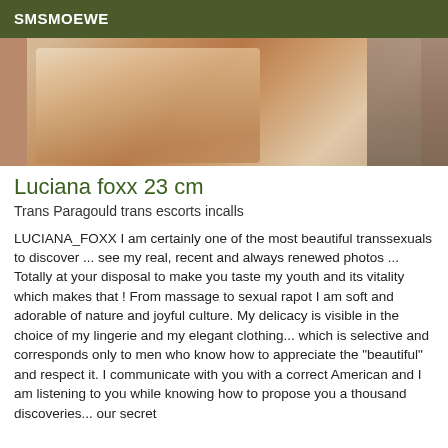SMSMOEWE
[Figure (photo): Partial photo of a person wearing white lingerie]
Luciana foxx 23 cm
Trans Paragould trans escorts incalls
LUCIANA_FOXX I am certainly one of the most beautiful transsexuals to discover ... see my real, recent and always renewed photos ... Totally at your disposal to make you taste my youth and its vitality which makes that ! From massage to sexual rapot I am soft and adorable of nature and joyful culture. My delicacy is visible in the choice of my lingerie and my elegant clothing... which is selective and corresponds only to men who know how to appreciate the "beautiful" and respect it. I communicate with you with a correct American and I am listening to you while knowing how to propose you a thousand discoveries... our secret